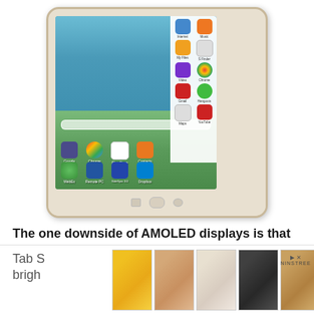[Figure (photo): Samsung Galaxy Tab S tablet showing Android home screen with app icons including Google, Chrome, Play Store, Contacts, WebEx, Remote PC, SideSync 3.0, Dropbox. Right panel shows Internet, Music, My Files, S Finder, Video, Chrome, Gmail, Hangouts, Maps, YouTube apps. Wallpaper shows green landscape with Highbury location tag.]
The one downside of AMOLED displays is that they aren't generally as bright as their LCD counterparts. The Galaxy Tab S brigh...
[Figure (photo): Advertisement banner showing multiple shoe product thumbnails (yellow heels, nude heels, white flats, black loafers, leopard print sandals) with Ninstree brand badge and skip ad controls]